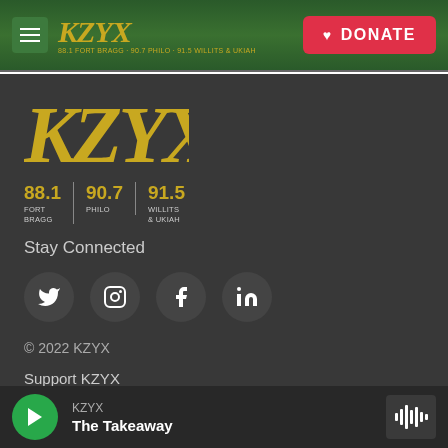KZYX header banner with logo and DONATE button
[Figure (logo): KZYX radio station logo in gold/yellow letters, large display]
88.1 FORT BRAGG | 90.7 PHILO | 91.5 WILLITS & UKIAH
Stay Connected
[Figure (illustration): Social media icons: Twitter, Instagram, Facebook, LinkedIn in dark circular buttons]
© 2022 KZYX
Support KZYX
KZYX - Public Inspection File
KZYZ - Public Inspection File
KZYX — The Takeaway (player bar)